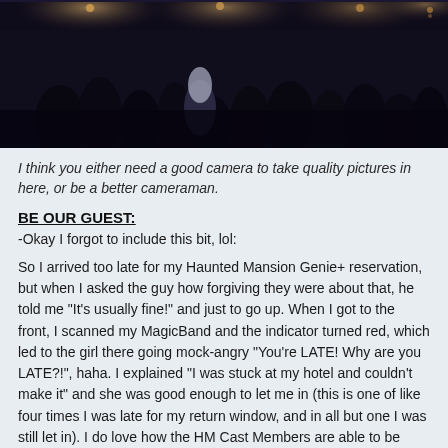[Figure (photo): Dark, dimly lit indoor restaurant or dining hall scene with crowd of people seated at tables, warm chandelier lighting visible in the background]
I think you either need a good camera to take quality pictures in here, or be a better cameraman.
BE OUR GUEST:
-Okay I forgot to include this bit, lol:
So I arrived too late for my Haunted Mansion Genie+ reservation, but when I asked the guy how forgiving they were about that, he told me "It's usually fine!" and just to go up. When I got to the front, I scanned my MagicBand and the indicator turned red, which led to the girl there going mock-angry "You're LATE! Why are you LATE?!", haha. I explained "I was stuck at my hotel and couldn't make it" and she was good enough to let me in (this is one of like four times I was late for my return window, and in all but one I was still let in). I do love how the HM Cast Members are able to be blunt, lecturing and rude. It apparently makes that a REALLY popular attraction to work for ("It's also the only place here where you